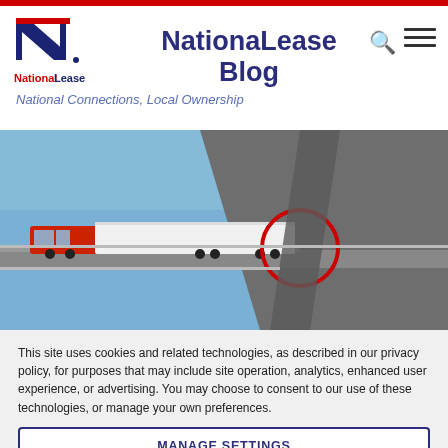NationaLease Blog — National Connections, Local Ownership
[Figure (photo): A red semi-truck with white trailer driving on an elevated highway overpass, viewed from below the bridge structure, with a red circle highlighting a specific area near the bridge support. Blue sky background.]
This site uses cookies and related technologies, as described in our privacy policy, for purposes that may include site operation, analytics, enhanced user experience, or advertising. You may choose to consent to our use of these technologies, or manage your own preferences.
MANAGE SETTINGS
ACCEPT
DECLINE ALL